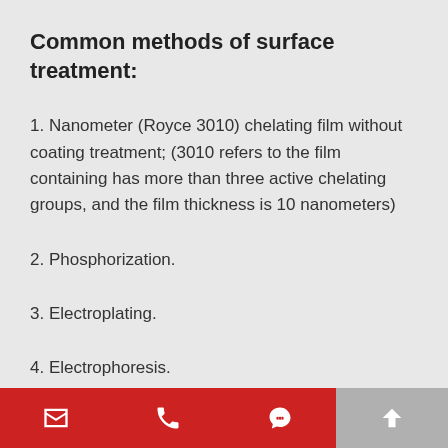Common methods of surface treatment:
1. Nanometer (Royce 3010) chelating film without coating treatment; (3010 refers to the film containing has more than three active chelating groups, and the film thickness is 10 nanometers)
2. Phosphorization.
3. Electroplating.
4. Electrophoresis.
[email icon] [phone icon] [chat icon] [up arrow icon]